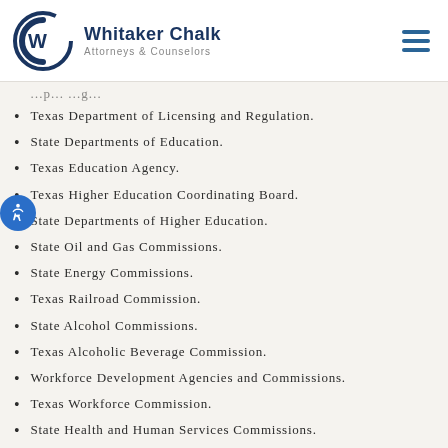Whitaker Chalk — Attorneys & Counselors
Texas Department of Licensing and Regulation.
State Departments of Education.
Texas Education Agency.
Texas Higher Education Coordinating Board.
State Departments of Higher Education.
State Oil and Gas Commissions.
State Energy Commissions.
Texas Railroad Commission.
State Alcohol Commissions.
Texas Alcoholic Beverage Commission.
Workforce Development Agencies and Commissions.
Texas Workforce Commission.
State Health and Human Services Commissions.
Texas Department of Health.
Texas Department of Human Services.